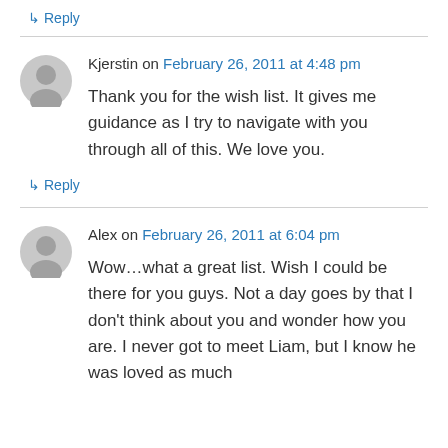↳ Reply
Kjerstin on February 26, 2011 at 4:48 pm
Thank you for the wish list. It gives me guidance as I try to navigate with you through all of this. We love you.
↳ Reply
Alex on February 26, 2011 at 6:04 pm
Wow…what a great list. Wish I could be there for you guys. Not a day goes by that I don't think about you and wonder how you are. I never got to meet Liam, but I know he was loved as much